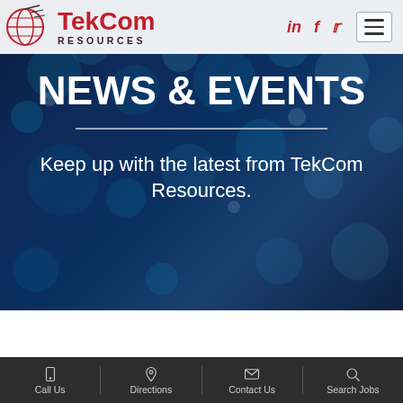[Figure (logo): TekCom Resources logo with globe icon, red brand name and dark RESOURCES text]
in  f  (twitter icon)  ☰
[Figure (photo): Dark blue bokeh/fiber optic background hero image]
NEWS & EVENTS
Keep up with the latest from TekCom Resources.
Call Us  Directions  Contact Us  Search Jobs
Here's Why Flexibilit is the Best Thing yo...